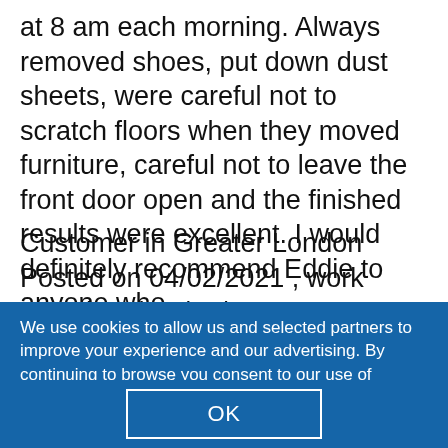at 8 am each morning. Always removed shoes, put down dust sheets, were careful not to scratch floors when they moved furniture, careful not to leave the front door open and the finished results were excellent. I would definitely recommend Eddie to anyone who… read more
Customer in Greater London    Posted on 04/02/2021 , work completed 06/12/2020
We use cookies to allow us and selected partners to improve your experience and our advertising. By continuing to browse you consent to our use of cookies. You can understand more and change your cookies preferences here.
OK